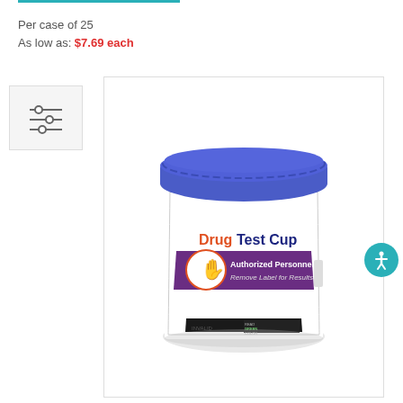Per case of 25
As low as: $7.69 each
[Figure (photo): A white drug test cup with a blue ribbed lid. The cup has a label reading 'Drug Test Cup' in orange and dark blue text. Below that is a purple band with a hand icon and text 'Authorized Personnel Only, Remove Label for Results'. The bottom of the cup has small result reading strips.]
[Figure (other): Filter/settings icon with three horizontal sliders]